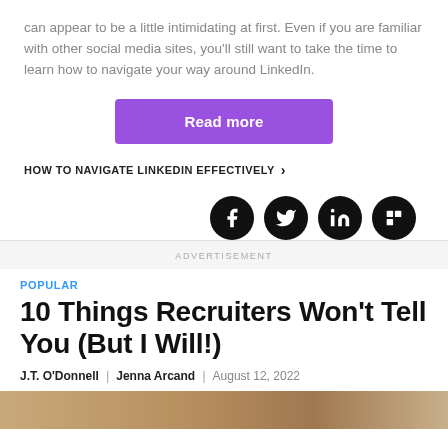can appear to be a little intimidating at first. Even if you are familiar with other social media sites, you'll still want to take the time to learn how to navigate your way around LinkedIn.
Read more
HOW TO NAVIGATE LINKEDIN EFFECTIVELY ›
[Figure (other): Social media share icons: Facebook, Twitter, LinkedIn, Flipboard]
ADVERTISEMENT
POPULAR
10 Things Recruiters Won't Tell You (But I Will!)
J.T. O'Donnell | Jenna Arcand | August 12, 2022
[Figure (photo): Bottom partial image of article thumbnail]